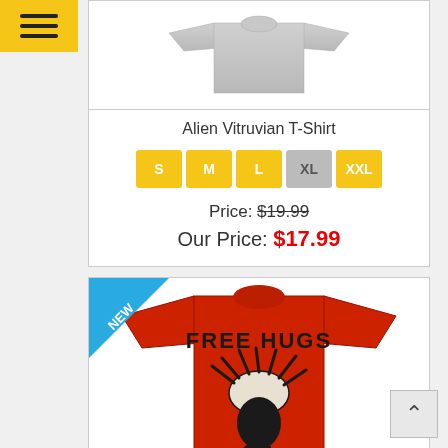[Figure (screenshot): Hamburger menu icon on yellow background]
[Figure (photo): Gray Alien Vitruvian T-Shirt product image]
Alien Vitruvian T-Shirt
S  M  L  XL  XXL (size selector buttons)
Price: $19.99
Our Price: $17.99
[Figure (photo): Red Free Hugs T-Shirt with alien facehugger graphic, NEW badge in top-left corner]